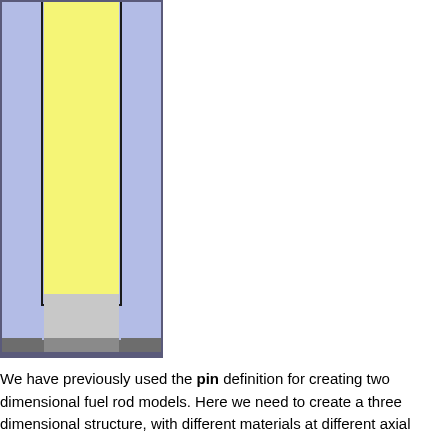[Figure (schematic): Cross-sectional engineering diagram of a nuclear fuel rod showing layered cylindrical structure. From outside to inside: blue cladding/moderator region, thin black border, yellow fuel region in upper portion, gray plenum region in lower portion, and dark gray bottom end cap. The structure is shown in a 2D cross-section view.]
We have previously used the pin definition for creating two dimensional fuel rod models. Here we need to create a three dimensional structure, with different materials at different axial